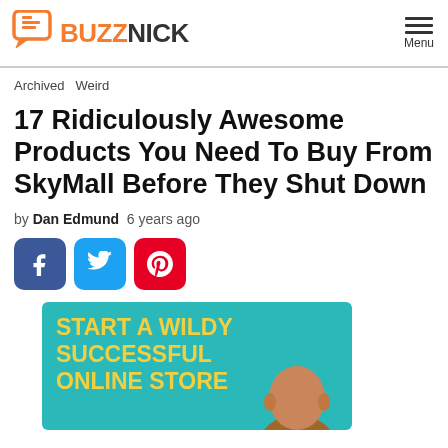BUZZNICK — Menu
Archived   Weird
17 Ridiculously Awesome Products You Need To Buy From SkyMall Before They Shut Down
by Dan Edmund   6 years ago
[Figure (other): Social share buttons: Facebook, Twitter, Pinterest]
[Figure (illustration): Advertisement banner: START A WILDY SUCCESSFUL ONLINE STORE with teal background and yellow text, partial image of a person's head at bottom]